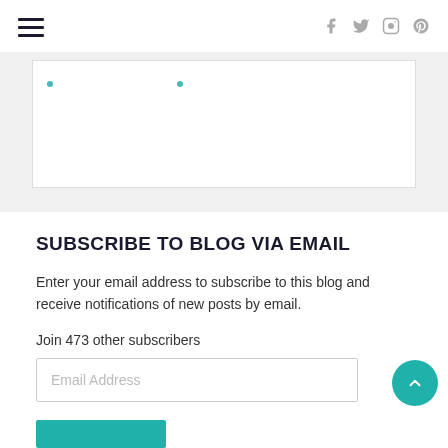Navigation header with hamburger menu and social icons (Facebook, Twitter, Instagram, Pinterest)
[Figure (screenshot): Partial content area showing a white box with light teal link dots on a light gray background]
SUBSCRIBE TO BLOG VIA EMAIL
Enter your email address to subscribe to this blog and receive notifications of new posts by email.
Join 473 other subscribers
Email Address